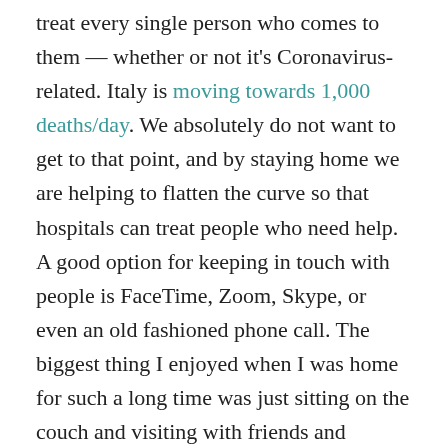treat every single person who comes to them — whether or not it's Coronavirus-related. Italy is moving towards 1,000 deaths/day. We absolutely do not want to get to that point, and by staying home we are helping to flatten the curve so that hospitals can treat people who need help. A good option for keeping in touch with people is FaceTime, Zoom, Skype, or even an old fashioned phone call. The biggest thing I enjoyed when I was home for such a long time was just sitting on the couch and visiting with friends and family. That will look different now, as I am staying home and not seeing anyone new until we have gotten everything under control, but I still look forward to chatting with my friends and family every single day I am stuck at home. Experts are now recommending